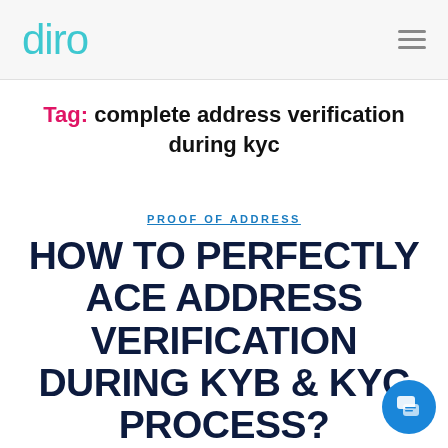diro
Tag: complete address verification during kyc
PROOF OF ADDRESS
HOW TO PERFECTLY ACE ADDRESS VERIFICATION DURING KYB & KYC PROCESS?